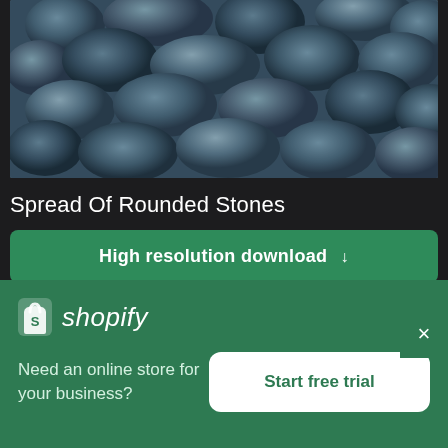[Figure (photo): Close-up photograph of dark rounded stones/pebbles with blue-grey tones]
Spread Of Rounded Stones
High resolution download ↓
[Figure (photo): Photograph of wooden beams/rafters with sunlight and trees visible below]
[Figure (logo): Shopify logo with shopping bag icon and italic text 'shopify']
Need an online store for your business?
Start free trial